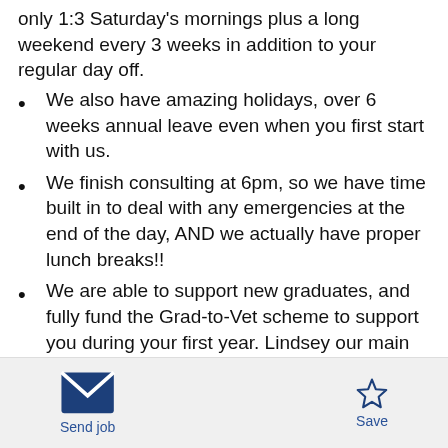only 1:3 Saturday's mornings plus a long weekend every 3 weeks in addition to your regular day off.
We also have amazing holidays, over 6 weeks annual leave even when you first start with us.
We finish consulting at 6pm, so we have time built in to deal with any emergencies at the end of the day, AND we actually have proper lunch breaks!!
We are able to support new graduates, and fully fund the Grad-to-Vet scheme to support you during your first year. Lindsey our main vet is also completing the VetGDP advisor training. We have
Send job   Save